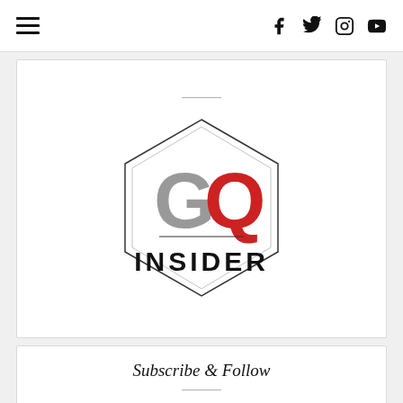≡   f  twitter  instagram  youtube
[Figure (logo): GQ Insider logo inside a hexagon outline. 'GQ' in large letters with G in grey and Q in red, below a horizontal line, then 'INSIDER' in bold black condensed font.]
Subscribe & Follow